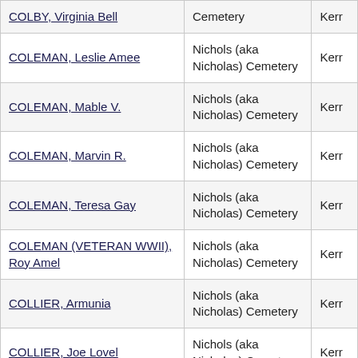| COLBY, Virginia Bell | Cemetery | Kerr |
| COLEMAN, Leslie Amee | Nichols (aka Nicholas) Cemetery | Kerr |
| COLEMAN, Mable V. | Nichols (aka Nicholas) Cemetery | Kerr |
| COLEMAN, Marvin R. | Nichols (aka Nicholas) Cemetery | Kerr |
| COLEMAN, Teresa Gay | Nichols (aka Nicholas) Cemetery | Kerr |
| COLEMAN (VETERAN WWII), Roy Amel | Nichols (aka Nicholas) Cemetery | Kerr |
| COLLIER, Armunia | Nichols (aka Nicholas) Cemetery | Kerr |
| COLLIER, Joe Lovel | Nichols (aka Nicholas) Cemetery | Kerr |
| COLLIER, Joseph M. | Nichols (aka Nicholas) Cemetery | Kerr |
| (partial) Nichols (aka Nicholas) |  |  |